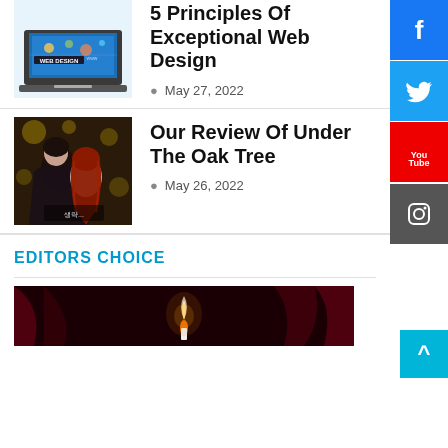[Figure (screenshot): Web design article thumbnail showing a laptop with 'WEB DESIGN WWW' text and design icons]
5 Principles Of Exceptional Web Design
May 27, 2022
[Figure (illustration): Manga-style illustration of two characters embracing, a man and woman with long red hair, for 'Under The Oak Tree' review]
Our Review Of Under The Oak Tree
May 26, 2022
EDITORS CHOICE
[Figure (photo): Dark dramatic photo with a flame/candle light against red/dark background for Editors Choice section]